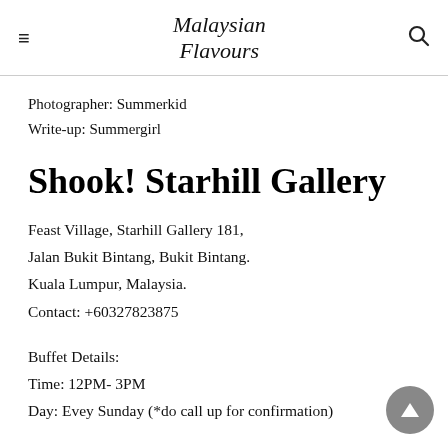Malaysian Flavours
Photographer: Summerkid
Write-up: Summergirl
Shook! Starhill Gallery
Feast Village, Starhill Gallery 181,
Jalan Bukit Bintang, Bukit Bintang.
Kuala Lumpur, Malaysia.
Contact: +60327823875
Buffet Details:
Time: 12PM- 3PM
Day: Evey Sunday (*do call up for confirmation)